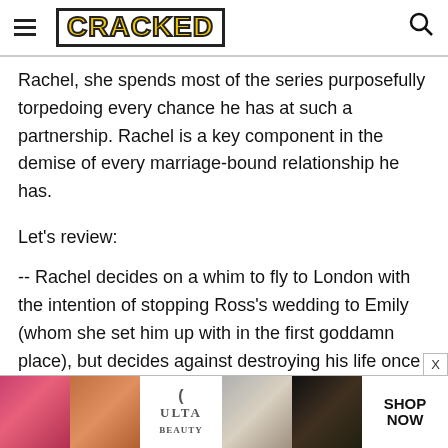CRACKED
Rachel, she spends most of the series purposefully torpedoing every chance he has at such a partnership. Rachel is a key component in the demise of every marriage-bound relationship he has.
Let's review:
-- Rachel decides on a whim to fly to London with the intention of stopping Ross's wedding to Emily (whom she set him up with in the first goddamn place), but decides against destroying his life once she arrives.
[Figure (photo): Ulta Beauty advertisement banner showing beauty/makeup product photos with SHOP NOW call to action]